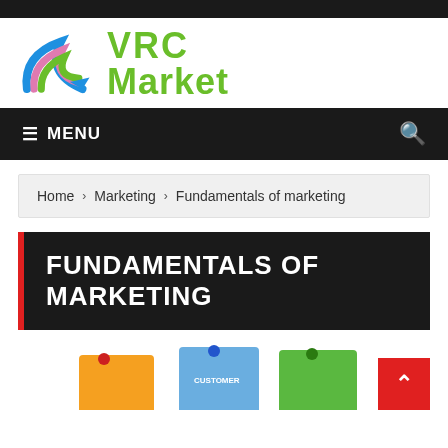[Figure (logo): VRC Market logo with swoosh arrows in green, pink, and blue, and green bold text reading 'VRC Market']
☰ MENU
Home › Marketing › Fundamentals of marketing
FUNDAMENTALS OF MARKETING
[Figure (photo): Sticky notes with pushpins in orange, blue, and green colors partially visible at bottom of page]